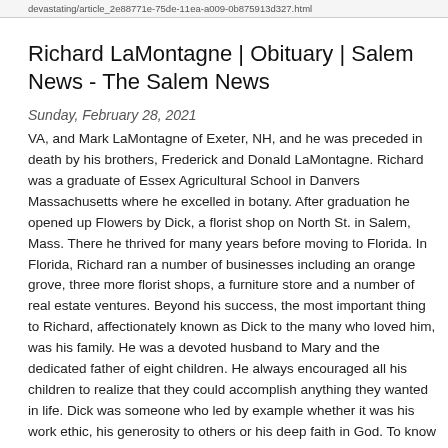devastating/article_2e88771e-75de-11ea-a009-0b875913d327.html
Richard LaMontagne | Obituary | Salem News - The Salem News
Sunday, February 28, 2021
VA, and Mark LaMontagne of Exeter, NH, and he was preceded in death by his brothers, Frederick and Donald LaMontagne. Richard was a graduate of Essex Agricultural School in Danvers Massachusetts where he excelled in botany. After graduation he opened up Flowers by Dick, a florist shop on North St. in Salem, Mass. There he thrived for many years before moving to Florida. In Florida, Richard ran a number of businesses including an orange grove, three more florist shops, a furniture store and a number of real estate ventures. Beyond his success, the most important thing to Richard, affectionately known as Dick to the many who loved him, was his family. He was a devoted husband to Mary and the dedicated father of eight children. He always encouraged all his children to realize that they could accomplish anything they wanted in life. Dick was someone who led by example whether it was his work ethic, his generosity to others or his deep faith in God. To know Dick was to love him. Dick loved spending time with his family and was always up for a good time. His infectious smile and Dad jokes were always a great addition to any gathering. He loved touring the country with his